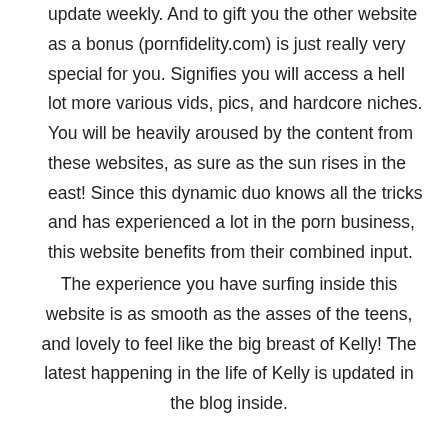update weekly. And to gift you the other website as a bonus (pornfidelity.com) is just really very special for you. Signifies you will access a hell lot more various vids, pics, and hardcore niches. You will be heavily aroused by the content from these websites, as sure as the sun rises in the east! Since this dynamic duo knows all the tricks and has experienced a lot in the porn business, this website benefits from their combined input.
The experience you have surfing inside this website is as smooth as the asses of the teens, and lovely to feel like the big breast of Kelly! The latest happening in the life of Kelly is updated in the blog inside.